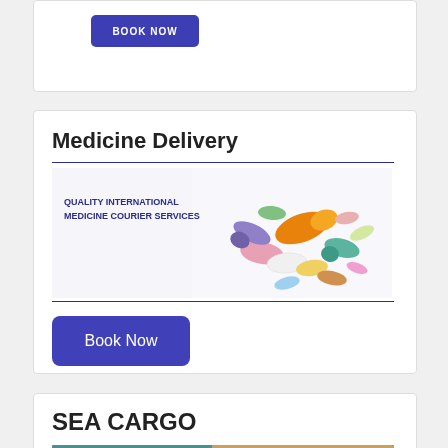[Figure (other): Partial top card with a BOOK NOW button (cut off at top of page)]
Medicine Delivery
[Figure (photo): Banner image showing colorful pills and capsules with text QUALITY INTERNATIONAL MEDICINE COURIER SERVICES in dark blue bold on left side]
Book Now
SEA CARGO
[Figure (photo): Partial sea cargo banner image with text SEA CARGO SERVICE in blue bold]